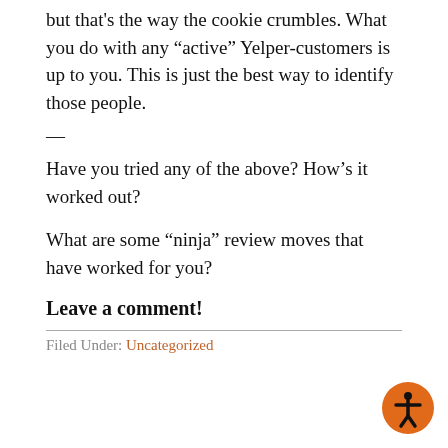but that’s the way the cookie crumbles.  What you do with any “active” Yelper-customers is up to you.  This is just the best way to identify those people.
—
Have you tried any of the above?  How’s it worked out?
What are some “ninja” review moves that have worked for you?
Leave a comment!
Filed Under: Uncategorized